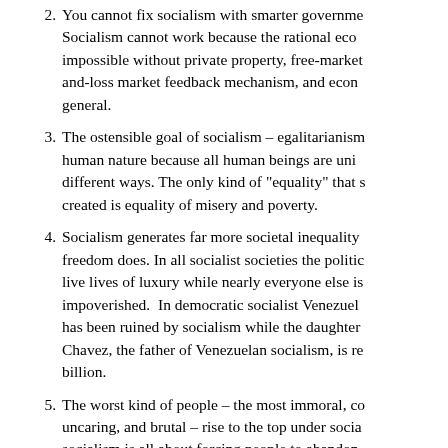2. You cannot fix socialism with smarter government. Socialism cannot work because the rational economic calculation is impossible without private property, free-market prices, profit-and-loss market feedback mechanism, and economic freedom in general.
3. The ostensible goal of socialism – egalitarianism – contradicts human nature because all human beings are unique and excel in different ways. The only kind of "equality" that socialism has ever created is equality of misery and poverty.
4. Socialism generates far more societal inequality than economic freedom does. In all socialist societies the political elite live lives of luxury while nearly everyone else is impoverished. In democratic socialist Venezuela, the economy has been ruined by socialism while the daughter of Hugo Chavez, the father of Venezuelan socialism, is reported to be worth $4 billion.
5. The worst kind of people – the most immoral, corrupt, uncaring, and brutal – rise to the top under socialism because socialism is all about forcing people to abandon control over their own lives and complying with mandatory government dictates instead. It is no accident, in other words, that so